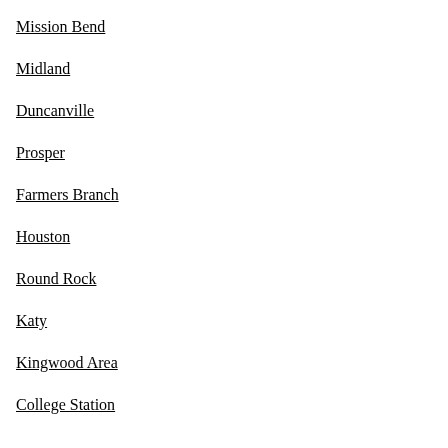Mission Bend
Midland
Duncanville
Prosper
Farmers Branch
Houston
Round Rock
Katy
Kingwood Area
College Station